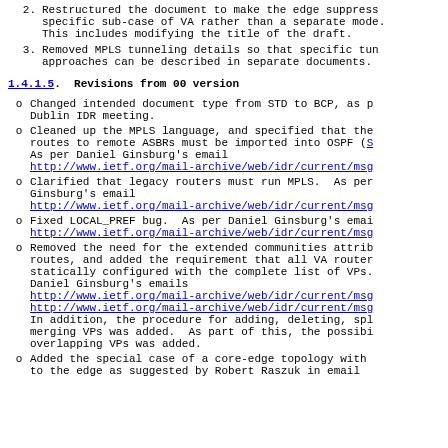2.  Restructured the document to make the edge suppress specific sub-case of VA rather than a separate mode. This includes modifying the title of the draft.
3.  Removed MPLS tunneling details so that specific tun approaches can be described in separate documents.
1.4.1.5.  Revisions from 00 version
o  Changed intended document type from STD to BCP, as p Dublin IDR meeting.
o  Cleaned up the MPLS language, and specified that the routes to remote ASBRs must be imported into OSPF (S As per Daniel Ginsburg's email http://www.ietf.org/mail-archive/web/idr/current/msg
o  Clarified that legacy routers must run MPLS.  As per Ginsburg's email http://www.ietf.org/mail-archive/web/idr/current/msg
o  Fixed LOCAL_PREF bug.  As per Daniel Ginsburg's emai http://www.ietf.org/mail-archive/web/idr/current/msg
o  Removed the need for the extended communities attrib routes, and added the requirement that all VA router statically configured with the complete list of VPs. Daniel Ginsburg's emails http://www.ietf.org/mail-archive/web/idr/current/msg http://www.ietf.org/mail-archive/web/idr/current/msg In addition, the procedure for adding, deleting, spl merging VPs was added.  As part of this, the possibi overlapping VPs was added.
o  Added the special case of a core-edge topology with to the edge as suggested by Robert Raszuk in email